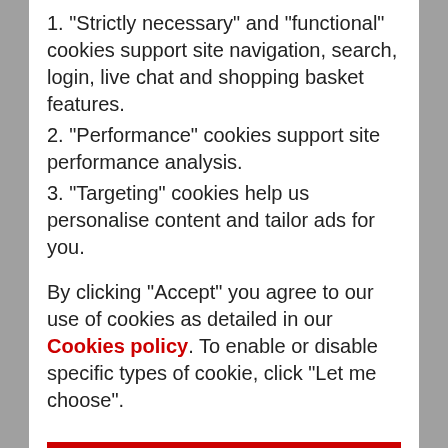1. “Strictly necessary” and “functional” cookies support site navigation, search, login, live chat and shopping basket features.
2. “Performance” cookies support site performance analysis.
3. “Targeting” cookies help us personalise content and tailor ads for you.
By clicking “Accept” you agree to our use of cookies as detailed in our Cookies policy. To enable or disable specific types of cookie, click “Let me choose”.
Accept
Let me choose